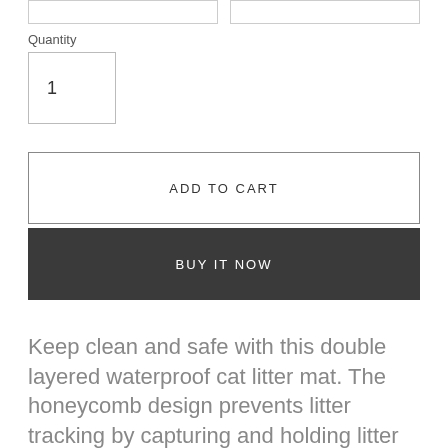Quantity
1
ADD TO CART
BUY IT NOW
Keep clean and safe with this double layered waterproof cat litter mat. The honeycomb design prevents litter tracking by capturing and holding litter particles. Save and reuse litter while keeping clean. Features safe and